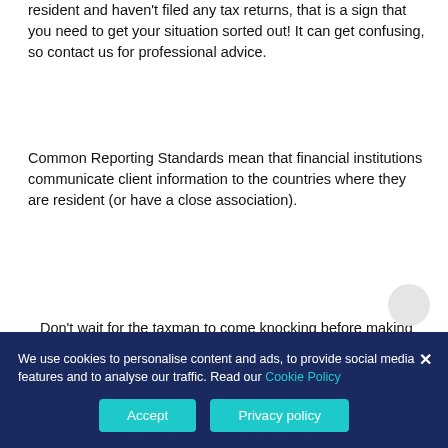resident and haven't filed any tax returns, that is a sign that you need to get your situation sorted out! It can get confusing, so contact us for professional advice.
Common Reporting Standards mean that financial institutions communicate client information to the countries where they are resident (or have a close association).
Don't wait for the taxman to come knocking before making sure that you have done what is necessary. Tax residency is an important issue and is worth looking at thoroughly, because in certain countries you can end up...
We use cookies to personalise content and ads, to provide social media features and to analyse our traffic. Read our Cookie Policy